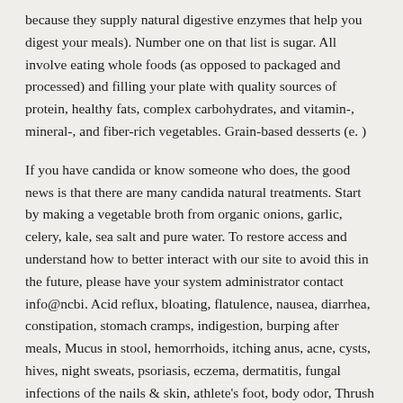because they supply natural digestive enzymes that help you digest your meals). Number one on that list is sugar. All involve eating whole foods (as opposed to packaged and processed) and filling your plate with quality sources of protein, healthy fats, complex carbohydrates, and vitamin-, mineral-, and fiber-rich vegetables. Grain-based desserts (e. )
If you have candida or know someone who does, the good news is that there are many candida natural treatments. Start by making a vegetable broth from organic onions, garlic, celery, kale, sea salt and pure water. To restore access and understand how to better interact with our site to avoid this in the future, please have your system administrator contact info@ncbi. Acid reflux, bloating, flatulence, nausea, diarrhea, constipation, stomach cramps, indigestion, burping after meals, Mucus in stool, hemorrhoids, itching anus, acne, cysts, hives, night sweats, psoriasis, eczema, dermatitis, fungal infections of the nails & skin, athlete's foot, body odor, Thrush (white coating on tongue), swollen lower lip, halitosis, metallic taste in mouth, bad breath, canker sores, bleeding gums, cracked tongue, persistent cough, mucus in throat, sore throat, sinus congestion, chronic post-nasal drip, flu-like symptoms, hay fever symptoms, sinusitis, asthma, eye pain, itchy eyes, sensitivity to light, blurred vision, bags under eyes, ringing in the ears, ear infections, recurring yeast infections, recurring UTI's (urinary tract infections), cystitis (inflammation of the bladder), PMS &